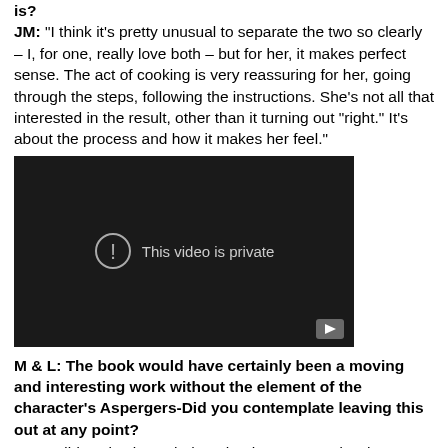is?
JM:  "I think it's pretty unusual to separate the two so clearly – I, for one, really love both – but for her, it makes perfect sense. The act of cooking is very reassuring for her, going through the steps, following the instructions. She's not all that interested in the result, other than it turning out "right." It's about the process and how it makes her feel."
[Figure (screenshot): An embedded video player showing 'This video is private' message with an exclamation icon and a play button in the bottom right corner. The background is dark/black.]
M & L: The book would have certainly been a moving and interesting work without the element of the character's Aspergers-Did you contemplate leaving this out at any point?
JM: "I didn't give it much thought, the way you do when...